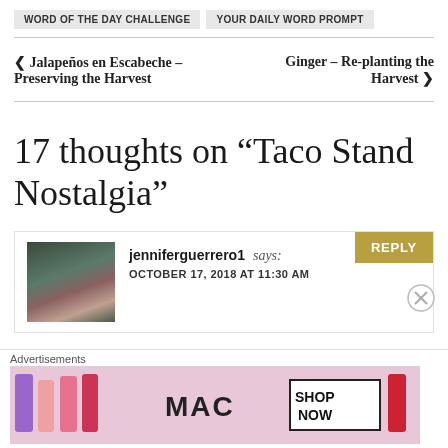WORD OF THE DAY CHALLENGE   YOUR DAILY WORD PROMPT
< Jalapeños en Escabeche – Preserving the Harvest
Ginger – Re-planting the Harvest >
17 thoughts on “Taco Stand Nostalgia”
jenniferguerrero1 says: OCTOBER 17, 2018 AT 11:30 AM
[Figure (photo): MAC cosmetics advertisement showing lipsticks with SHOP NOW text]
Advertisements